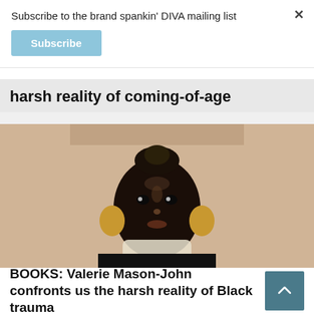Subscribe to the brand spankin' DIVA mailing list
Subscribe
harsh reality of coming-of-age
[Figure (photo): Portrait photo of a Black woman with hair in a bun, wearing large gold hoop earrings, a white statement necklace, and a black top, photographed against a light brick wall background.]
BOOKS: Valerie Mason-John confronts us the harsh reality of Black trauma